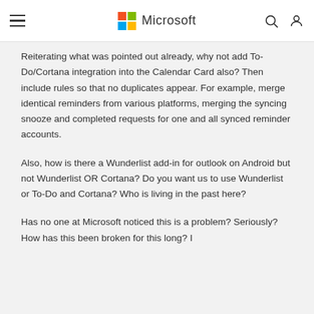Microsoft
Reiterating what was pointed out already, why not add To-Do/Cortana integration into the Calendar Card also? Then include rules so that no duplicates appear. For example, merge identical reminders from various platforms, merging the syncing snooze and completed requests for one and all synced reminder accounts.
Also, how is there a Wunderlist add-in for outlook on Android but not Wunderlist OR Cortana? Do you want us to use Wunderlist or To-Do and Cortana? Who is living in the past here?
Has no one at Microsoft noticed this is a problem? Seriously? How has this been broken for this long? I